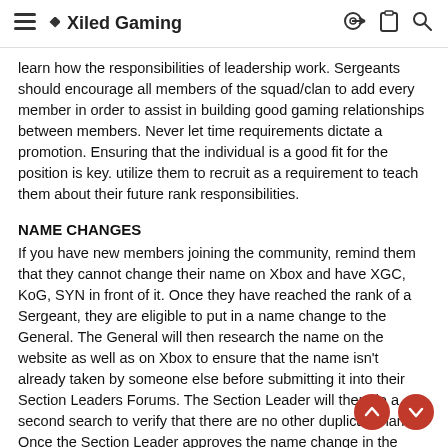≡ ◆Xiled Gaming [icons: key, clipboard, search]
learn how the responsibilities of leadership work. Sergeants should encourage all members of the squad/clan to add every member in order to assist in building good gaming relationships between members. Never let time requirements dictate a promotion. Ensuring that the individual is a good fit for the position is key. utilize them to recruit as a requirement to teach them about their future rank responsibilities.
NAME CHANGES
If you have new members joining the community, remind them that they cannot change their name on Xbox and have XGC, KoG, SYN in front of it. Once they have reached the rank of a Sergeant, they are eligible to put in a name change to the General. The General will then research the name on the website as well as on Xbox to ensure that the name isn't already taken by someone else before submitting it into their Section Leaders Forums. The Section Leader will then do a second search to verify that there are no other duplicate names. Once the Section Leader approves the name change in the Forums, the member can then proceed to request for a name change through the website. Sergeants cannot be changed until the Division Level